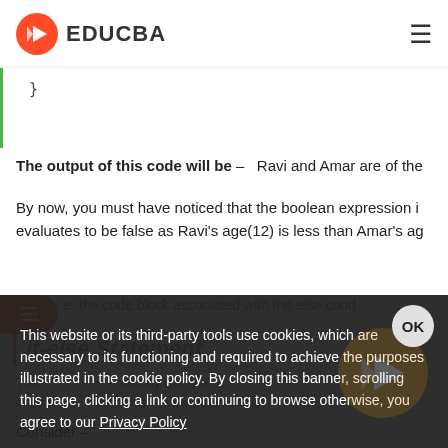EDUCBA
}
The output of this code will be – Ravi and Amar are of the
By now, you must have noticed that the boolean expression i evaluates to be false as Ravi's age(12) is less than Amar's ag block, i.e. the code block associated with the else cond
if-else Statement
This website or its third-party tools use cookies, which are necessary to its functioning and required to achieve the purposes illustrated in the cookie policy. By closing this banner, scrolling this page, clicking a link or continuing to browse otherwise, you agree to our Privacy Policy
Consider –